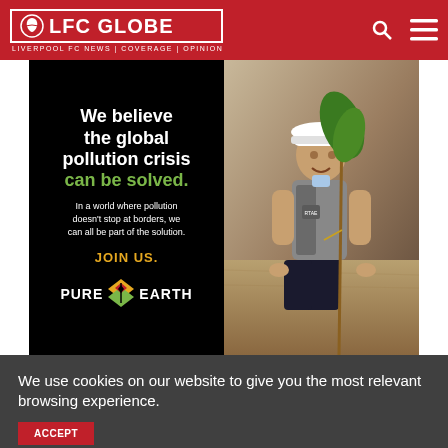LFC GLOBE — LIVERPOOL FC NEWS | COVERAGE | OPINION
[Figure (illustration): Pure Earth advertisement: black left panel with white bold headline 'We believe the global pollution crisis can be solved.' (solved in green), body text 'In a world where pollution doesn't stop at borders, we can all be part of the solution.', 'JOIN US.' in gold, Pure Earth logo at bottom. Right panel shows a photo of a man in a white hard hat and grey vest planting a sapling.]
We use cookies on our website to give you the most relevant browsing experience.